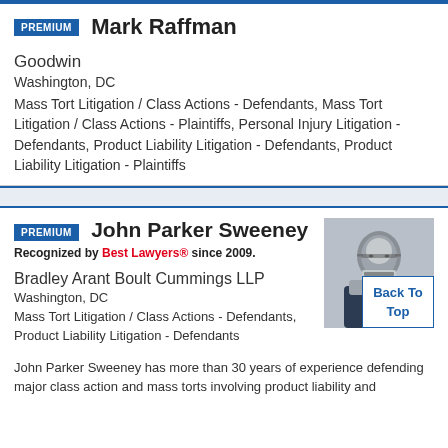PREMIUM Mark Raffman
Goodwin
Washington, DC
Mass Tort Litigation / Class Actions - Defendants, Mass Tort Litigation / Class Actions - Plaintiffs, Personal Injury Litigation - Defendants, Product Liability Litigation - Defendants, Product Liability Litigation - Plaintiffs
PREMIUM John Parker Sweeney
Recognized by Best Lawyers® since 2009.
Bradley Arant Boult Cummings LLP
Washington, DC
Mass Tort Litigation / Class Actions - Defendants, Product Liability Litigation - Defendants
John Parker Sweeney has more than 30 years of experience defending major class action and mass torts involving product liability and
[Figure (photo): Professional headshot of John Parker Sweeney, an older white male with glasses and gray hair, wearing a dark suit.]